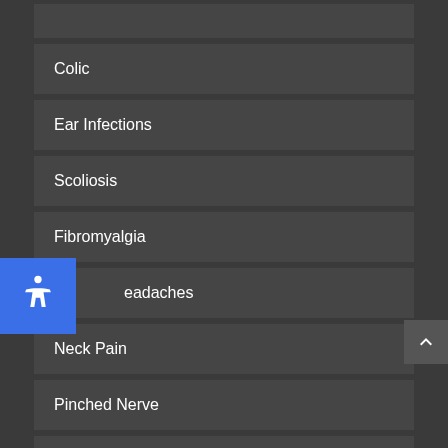Colic
Ear Infections
Scoliosis
Fibromyalgia
Headaches
Neck Pain
Pinched Nerve
Pregnancy
Menses PMS